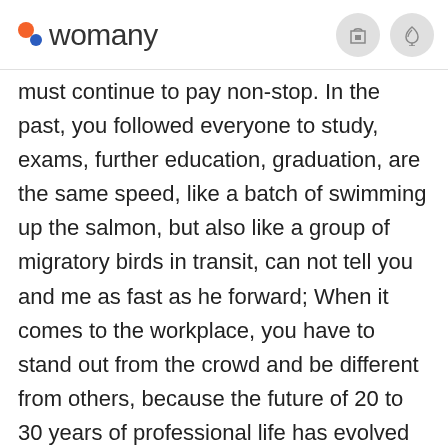womany
must continue to pay non-stop. In the past, you followed everyone to study, exams, further education, graduation, are the same speed, like a batch of swimming up the salmon, but also like a group of migratory birds in transit, can not tell you and me as fast as he forward; When it comes to the workplace, you have to stand out from the crowd and be different from others, because the future of 20 to 30 years of professional life has evolved into a pyramid, and only by constantly creating personal differentiation and upward can you survive at the higher end of the pyramid. With this recognition, you know: from now on to do